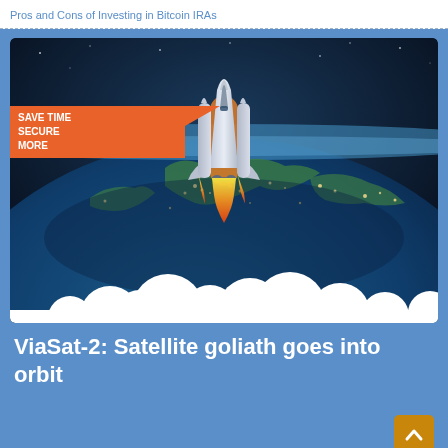Pros and Cons of Investing in Bitcoin IRAs
[Figure (illustration): A space shuttle launching from Earth orbit with clouds of smoke below and Earth's surface visible in the background at night with city lights. An orange badge in the upper left reads SAVE TIME SECURE MORE.]
ViaSat-2: Satellite goliath goes into orbit